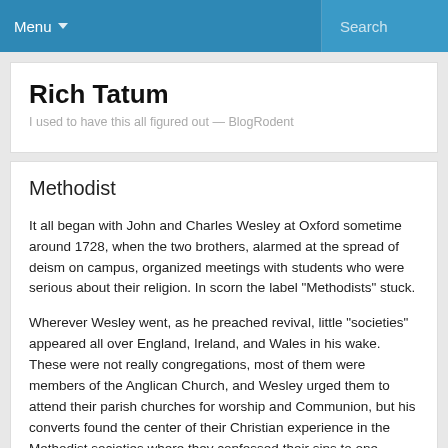Menu ▾   Search
Rich Tatum
I used to have this all figured out — BlogRodent
Methodist
It all began with John and Charles Wesley at Oxford sometime around 1728, when the two brothers, alarmed at the spread of deism on campus, organized meetings with students who were serious about their religion. In scorn the label "Methodists" stuck.
Wherever Wesley went, as he preached revival, little "societies" appeared all over England, Ireland, and Wales in his wake. These were not really congregations, most of them were members of the Anglican Church, and Wesley urged them to attend their parish churches for worship and Communion, but his converts found the center of their Christian experience in the Methodist societies where they confessed their sins to one another, submitted to the discipline of their leader, and